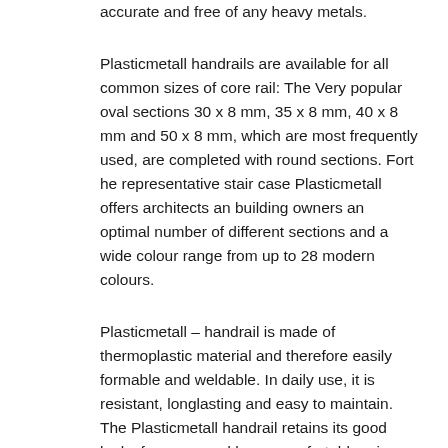accurate and free of any heavy metals.
Plasticmetall handrails are available for all common sizes of core rail: The Very popular oval sections 30 x 8 mm, 35 x 8 mm, 40 x 8 mm and 50 x 8 mm, which are most frequently used, are completed with round sections. Fort he representative stair case Plasticmetall offers architects an building owners an optimal number of different sections and a wide colour range from up to 28 modern colours.
Plasticmetall – handrail is made of thermoplastic material and therefore easily formable and weldable. In daily use, it is resistant, longlasting and easy to maintain. The Plasticmetall handrail retains its good looks for years and has a comfortable grip. For outside use the colours gold, blue and silver are not recommended.